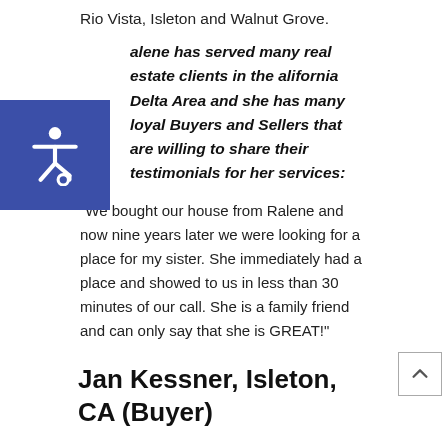Rio Vista, Isleton and Walnut Grove.
Ralene has served many real estate clients in the California Delta Area and she has many loyal Buyers and Sellers that are willing to share their testimonials for her services:
“We bought our house from Ralene and now nine years later we were looking for a place for my sister. She immediately had a place and showed to us in less than 30 minutes of our call. She is a family friend and can only say that she is GREAT!”
Jan Kessner, Isleton, CA (Buyer)
“RALENE NELSON was very knowledgeable in every aspect of selling my house. She made it much easier than I expected. She was a pleasure to work with. It took longer than I thought it should to sell but that was not in her control due to the economy. She gave